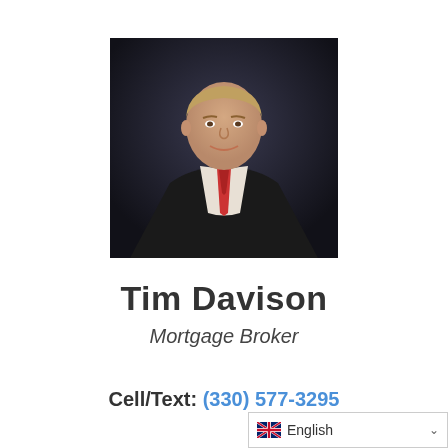[Figure (photo): Professional headshot of Tim Davison, a man in a dark suit with a striped tie, smiling, against a dark background.]
Tim Davison
Mortgage Broker
Cell/Text: (330) 577-3295